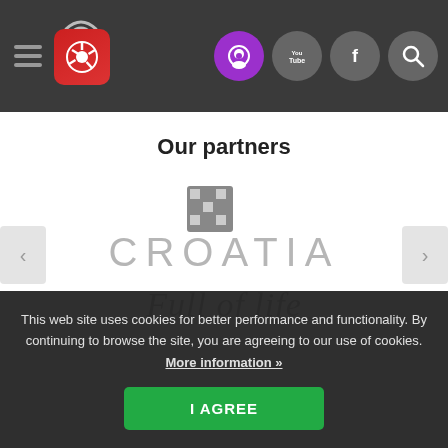Navigation header with menu, logo, and social icons
Our partners
[Figure (logo): Croatia Full of Life partner logo — stylized 'CROATIA' text with a checkerboard A and script 'Full of Life' tagline below]
This web site uses cookies for better performance and functionality. By continuing to browse the site, you are agreeing to our use of cookies. More information »
I AGREE